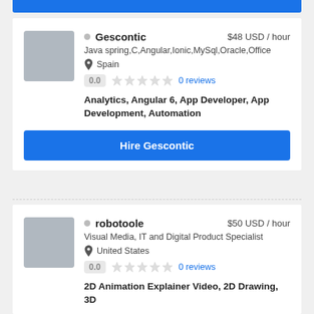[Figure (photo): Blue bar at top of page]
Gescontic  $48 USD / hour
Java spring,C,Angular,Ionic,MySql,Oracle,Office
Spain
0.0  0 reviews
Analytics, Angular 6, App Developer, App Development, Automation
Hire Gescontic
robotoole  $50 USD / hour
Visual Media, IT and Digital Product Specialist
United States
0.0  0 reviews
2D Animation Explainer Video, 2D Drawing, 3D